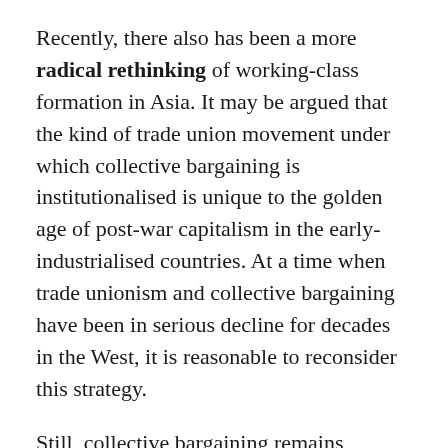Recently, there also has been a more radical rethinking of working-class formation in Asia. It may be argued that the kind of trade union movement under which collective bargaining is institutionalised is unique to the golden age of post-war capitalism in the early-industrialised countries. At a time when trade unionism and collective bargaining have been in serious decline for decades in the West, it is reasonable to reconsider this strategy.
Still, collective bargaining remains relevant. For the foreseeable future, industrial workers in China will surely continue to demand to bargain collectively with management, whatever form these negotiations may take. While it should not